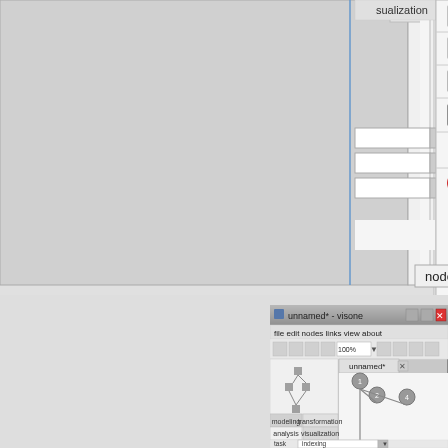[Figure (screenshot): Top portion of a software application (visone) showing a file menu dropdown with options: save (Strg+S), save as..., export... (Strg+E), print (Strg+P), options..., exit (Strg+Q). To the right is a visualization panel with dropdown controls and an 'analyze!' button. Status bar at bottom shows 'nodes: 0/0  edges: 0/0'.]
[Figure (screenshot): Bottom portion showing the visone application window titled 'unnamed* - visone' with menu bar (file, edit, nodes, links, view, about), toolbar, a canvas with a network graph showing 4 numbered nodes (1, 2, 4) connected by edges, a mini-map on the left, and an analysis panel at the bottom with tabs (modeling, transformation, analysis, visualization) and fields for task (indexing) and algo (node centrality).]